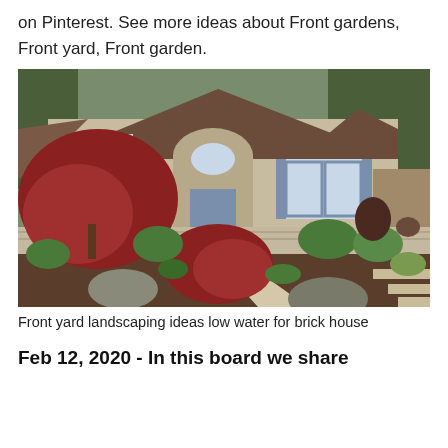on Pinterest. See more ideas about Front gardens, Front yard, Front garden.
[Figure (photo): Front yard landscaping photo showing a suburban house with a stone-accented entryway, Japanese maple trees with red foliage, mulched beds, large boulders, a concrete walkway with steps, and conifer trees in the background.]
Front yard landscaping ideas low water for brick house
Feb 12, 2020 - In this board we share